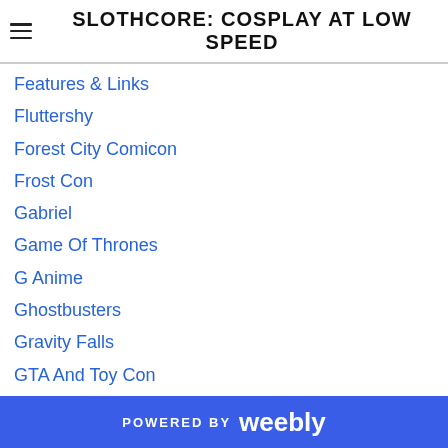SLOTHCORE: COSPLAY AT LOW SPEED
Features & Links
Fluttershy
Forest City Comicon
Frost Con
Gabriel
Game Of Thrones
G Anime
Ghostbusters
Gravity Falls
GTA And Toy Con
Halloween
Hawkeye
Image
Katamari Damacy
Kim Pine
Kitchener Comic Con
POWERED BY weebly